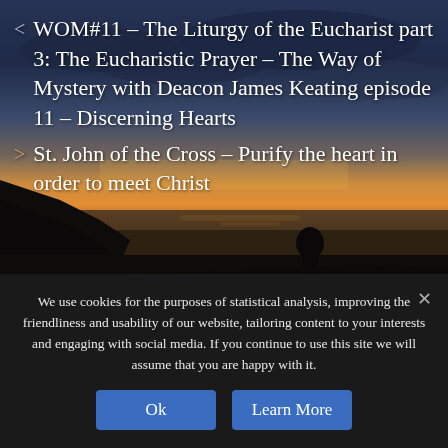[Figure (photo): Dark twilight/sunset landscape photo showing a silhouetted person standing on rocky terrain overlooking a body of water, with dramatic orange and gold sky near the horizon and dark cloudy sky above.]
< WOM#11 – The Liturgy of the Eucharist part 3: The Eucharistic Prayer – The Way of Mystery with Deacon James Keating episode 11 – Discerning Hearts
> St. John of the Cross – Purify the heart in order to meet Christ
We use cookies for the purposes of statistical analysis, improving the friendliness and usability of our website, tailoring content to your interests and engaging with social media. If you continue to use this site we will assume that you are happy with it.
Ok   Learn More